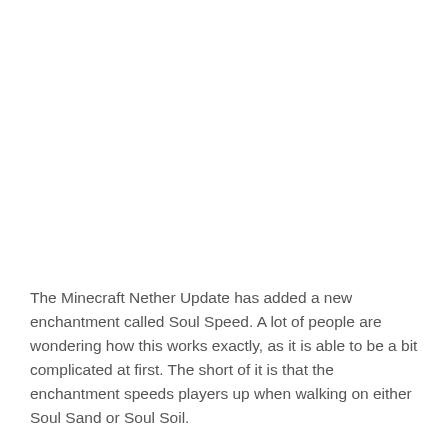The Minecraft Nether Update has added a new enchantment called Soul Speed. A lot of people are wondering how this works exactly, as it is able to be a bit complicated at first. The short of it is that the enchantment speeds players up when walking on either Soul Sand or Soul Soil.